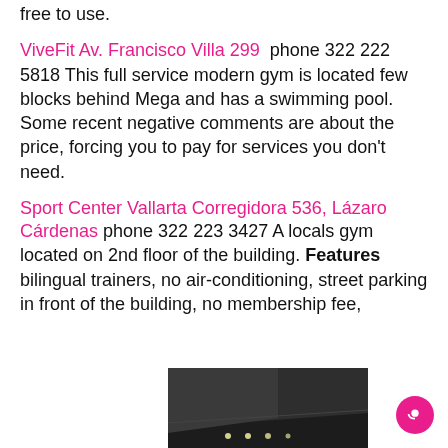free to use.
ViveFit Av. Francisco Villa 299  phone 322 222 5818 This full service modern gym is located few blocks behind Mega and has a swimming pool. Some recent negative comments are about the price, forcing you to pay for services you don't need.
Sport Center Vallarta Corregidora 536, Lázaro Cárdenas phone 322 223 3427 A locals gym located on 2nd floor of the building. Features bilingual trainers, no air-conditioning, street parking in front of the building, no membership fee,
[Figure (photo): Dark interior photo of a building, likely a gym, with lights visible at the bottom]